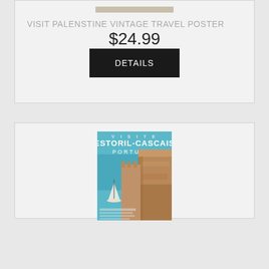[Figure (illustration): Thumbnail image of Visit Palestine vintage travel poster (partially visible at top)]
VISIT PALENSTINE VINTAGE TRAVEL POSTER
$24.99
DETAILS
[Figure (illustration): Visite Estoril-Cascais Portugal vintage travel poster showing a castle/fortress with a sailboat on blue water]